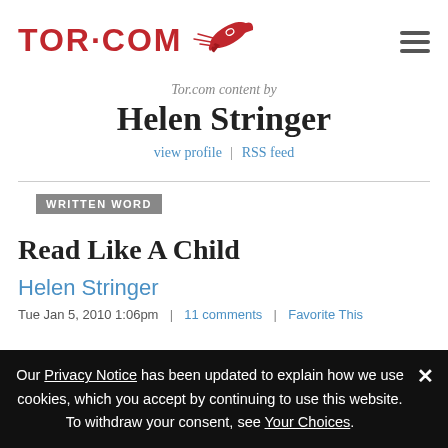TOR·COM
Tor.com content by
Helen Stringer
view profile | RSS feed
WRITTEN WORD
Read Like A Child
Helen Stringer
Tue Jan 5, 2010 1:06pm | 11 comments | Favorite This
Our Privacy Notice has been updated to explain how we use cookies, which you accept by continuing to use this website. To withdraw your consent, see Your Choices.